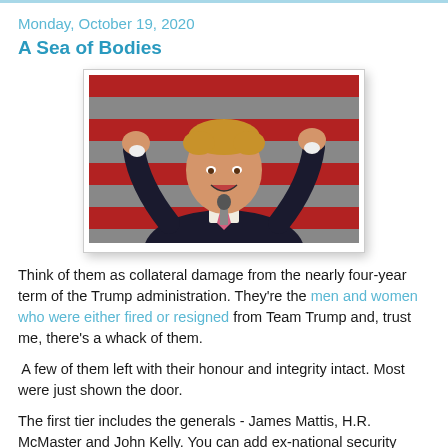Monday, October 19, 2020
A Sea of Bodies
[Figure (photo): A man with blonde hair in a dark suit, arms raised with hands spread wide, speaking at a microphone against a red, white, and grey striped background.]
Think of them as collateral damage from the nearly four-year term of the Trump administration. They're the men and women who were either fired or resigned from Team Trump and, trust me, there's a whack of them.
A few of them left with their honour and integrity intact. Most were just shown the door.
The first tier includes the generals - James Mattis, H.R. McMaster and John Kelly. You can add ex-national security